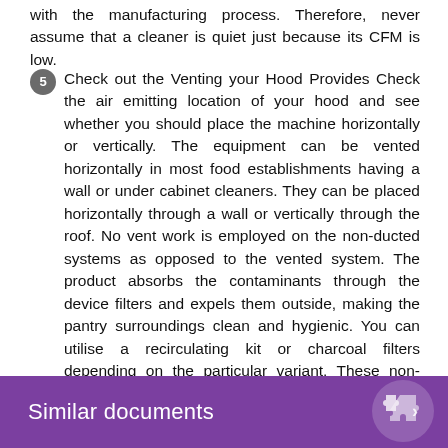with the manufacturing process. Therefore, never assume that a cleaner is quiet just because its CFM is low.
5 Check out the Venting your Hood Provides Check the air emitting location of your hood and see whether you should place the machine horizontally or vertically. The equipment can be vented horizontally in most food establishments having a wall or under cabinet cleaners. They can be placed horizontally through a wall or vertically through the roof. No vent work is employed on the non-ducted systems as opposed to the vented system. The product absorbs the contaminants through the device filters and expels them outside, making the pantry surroundings clean and hygienic. You can utilise a recirculating kit or charcoal filters depending on the particular variant. These non-vented options aren't as effective to remove soot and fumes but can be helpful in a space where you can't install the ductwork.
Similar documents